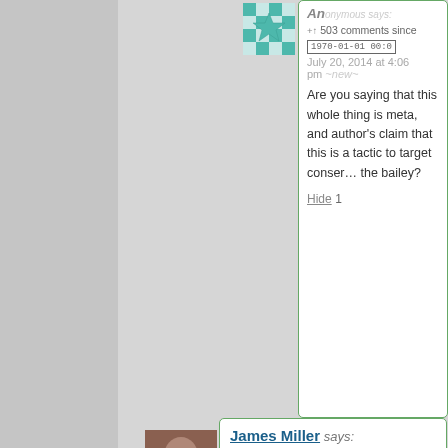Anonymous says: +] 503 comments since [1970-01-01 00:0] July 20, 2014 at 4:06 pm ~new~
Are you saying that this whole thing is meta, and author's claim that this is a tactic to target conser… the bailey?
Hide 1
James Miller says: July 19, 2014 at 1:35 am ~new~
Depending on your state's laws Ozy could set up a daycare home. If you live with Ozy, parents would consider it a huge… Ozy lives with an MD.
Hide
Anonymous says: July 22, 2014 at 6:50 pm ~new~
I don't think it would be legal for Scott to use any…